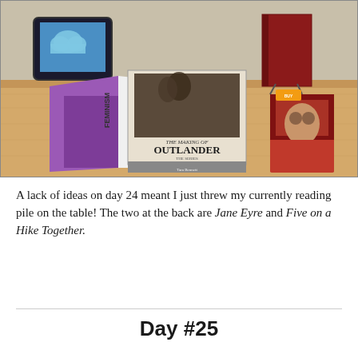[Figure (photo): Photo of several books arranged on a wooden table: a purple 'Feminism' book on the left leaning open, a large hardcover 'The Making of Outlander' book in the center, a tablet/e-reader on the back left showing a blue screen, a red book standing upright on the back right, and a paperback novel on the right side.]
A lack of ideas on day 24 meant I just threw my currently reading pile on the table! The two at the back are Jane Eyre and Five on a Hike Together.
Day #25